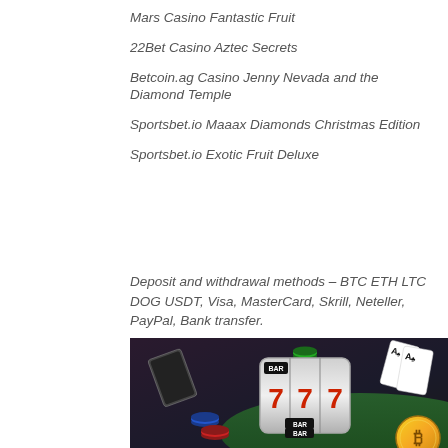Mars Casino Fantastic Fruit
22Bet Casino Aztec Secrets
Betcoin.ag Casino Jenny Nevada and the Diamond Temple
Sportsbet.io Maaax Diamonds Christmas Edition
Sportsbet.io Exotic Fruit Deluxe
Deposit and withdrawal methods – BTC ETH LTC DOG USDT, Visa, MasterCard, Skrill, Neteller, PayPal, Bank transfer.
[Figure (photo): Casino-themed illustration showing slot machine reels displaying 777 and BAR, playing cards, colorful poker chips, and a Bitcoin coin on a dark background with green felt surface.]